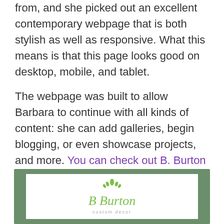from, and she picked out an excellent contemporary webpage that is both stylish as well as responsive. What this means is that this page looks good on desktop, mobile, and tablet.
The webpage was built to allow Barbara to continue with all kinds of content: she can add galleries, begin blogging, or even showcase projects, and more. You can check out B. Burton Custom Decor's new website by clicking here, or by clicking on the preview image below.
[Figure (logo): B Burton Custom Decor logo on a sage green bordered preview box with white interior]